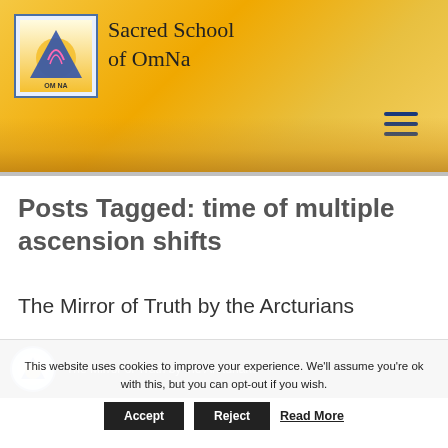[Figure (logo): Sacred School of OmNa website header with logo (triangle/pyramid with sun symbol in blue square border) and site name in serif font on golden/yellow gradient background with hamburger menu icon]
Posts Tagged: time of multiple ascension shifts
The Mirror of Truth by the Arcturians
[Figure (screenshot): Dark thumbnail bar showing Sacred School of OmNa logo and partial text 'The Mirror of Truth by the Arcturians']
This website uses cookies to improve your experience. We'll assume you're ok with this, but you can opt-out if you wish.  Accept  Reject  Read More